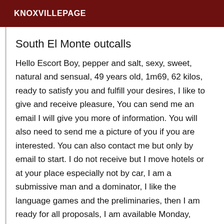KNOXVILLEPAGE
South El Monte outcalls
Hello Escort Boy, pepper and salt, sexy, sweet, natural and sensual, 49 years old, 1m69, 62 kilos, ready to satisfy you and fulfill your desires, I like to give and receive pleasure, You can send me an email I will give you more of information. You will also need to send me a picture of you if you are interested. You can also contact me but only by email to start. I do not receive but I move hotels or at your place especially not by car, I am a submissive man and a dominator, I like the language games and the preliminaries, then I am ready for all proposals, I am available Monday, Tuesday, Wednesday, Thursday, Friday, Saturday and Sunday from 22 hours, one hour 1, two hours 2. I want a woman with a healthy lifestyle, discretion, mutual respect and above all I do not want blah blah blah this is a serious announcement and I'm not here to chat, I would like to know a little more